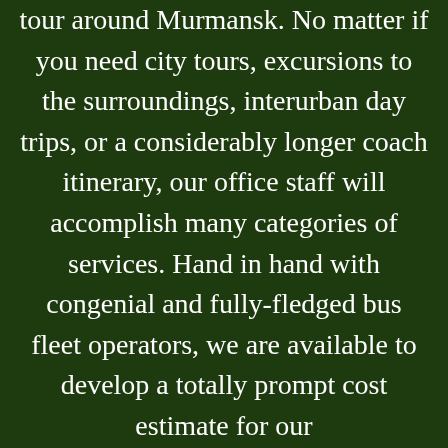tour around Murmansk. No matter if you need city tours, excursions to the surroundings, interurban day trips, or a considerably longer coach itinerary, our office staff will accomplish many categories of services. Hand in hand with congenial and fully-fledged bus fleet operators, we are available to develop a totally prompt cost estimate for our